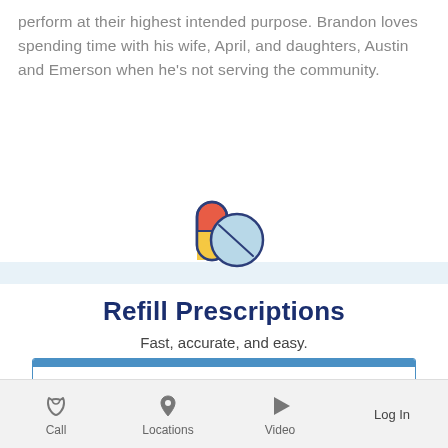perform at their highest intended purpose. Brandon loves spending time with his wife, April, and daughters, Austin and Emerson when he's not serving the community.
[Figure (illustration): Colorful pharmacy pill/capsule icon: a red-and-yellow capsule overlapping with a light blue circular tablet with a dividing line, outlined in dark blue]
Refill Prescriptions
Fast, accurate, and easy.
Select a Location
Call   Locations   Video   Log In